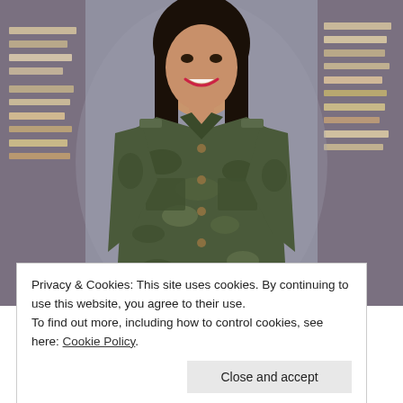[Figure (photo): A smiling woman wearing a camouflage jacket standing in a library aisle with bookshelves on both sides. She has dark hair and is looking at the camera.]
Privacy & Cookies: This site uses cookies. By continuing to use this website, you agree to their use.
To find out more, including how to control cookies, see here: Cookie Policy
Close and accept
I WANT TO KNOW